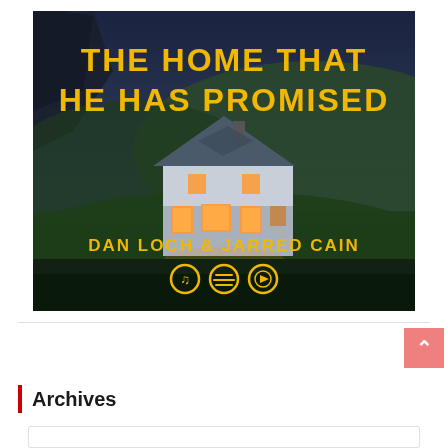[Figure (illustration): Album cover for 'The Home That He Has Promised' by Dan Loch & Jarred Cain. Dark twilight scene with a white farmhouse glowing from interior lights, set against green hills and dark rocky mountains. Yellow bold text at top reads 'THE HOME THAT HE HAS PROMISED'. At the bottom: 'DAN LOCH & JARRED CAIN' with three music platform icons (Apple Music, Spotify, YouTube Music).]
Archives